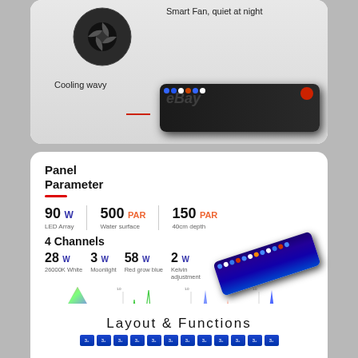[Figure (photo): Top product panel showing Smart Fan quiet at night feature and Cooling wavy feature with eBay watermark on product image]
Smart Fan, quiet at night
Cooling wavy
Panel Parameter
90 W LED Array | 500 PAR Water surface | 150 PAR 40cm depth
4 Channels
28 W 26000K White | 3 W Moonlight | 58 W Red grow blue | 2 W Kelvin adjustment
[Figure (photo): LED bar light panel shown at an angle with dimension labels: 5.5cm/2.1 inch, 12cm/4.7 inch, 90cm/35 inch]
[Figure (continuous-plot): Four spectral/color charts: CRI true colour render, Photosynthetic spectrum, Tropical spectrum 90nm, and RFI cause spectrum with moonlight LED caption]
Layout & Functions
[Figure (photo): LED grid layout showing blue LED cells labeled 3+]